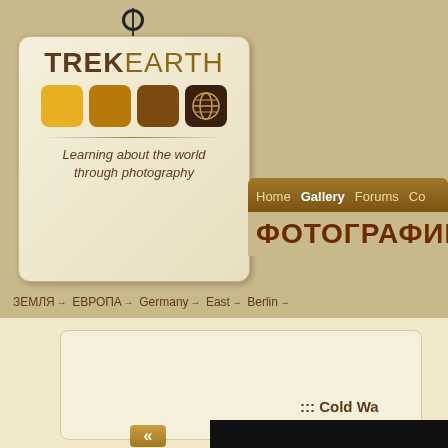[Figure (logo): TrekEarth logo on a tag-shaped cream background with cord and ring. Shows TREK EARTH text, four color squares (yellow, amber, brown, dark brown with world icon), a decorative line, and tagline 'Learning about the world through photography']
Home   Gallery   Forums   Co...
ФОТОГРАФИИ
ЗЕМЛЯ → ЕВРОПА → Germany → East → Berlin →
::: Cold Wa...